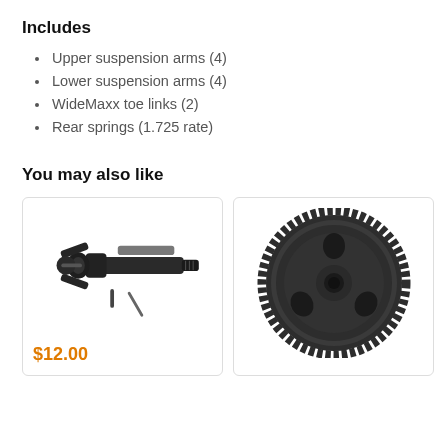Includes
Upper suspension arms (4)
Lower suspension arms (4)
WideMaxx toe links (2)
Rear springs (1.725 rate)
You may also like
[Figure (photo): RC car CV joint / driveshaft assembly parts in black]
[Figure (photo): RC car spur gear, black plastic, large circular gear with holes]
$12.00